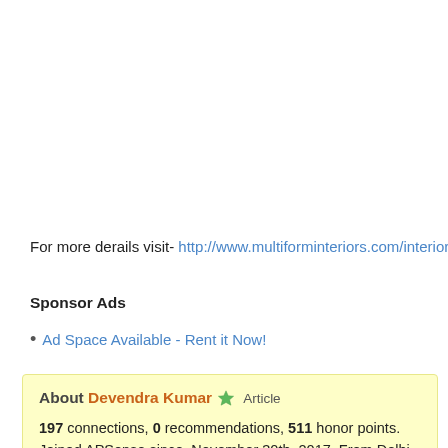For more derails visit- http://www.multiforminteriors.com/interior-design-1
Sponsor Ads
Ad Space Available - Rent it Now!
About Devendra Kumar  Article
197 connections, 0 recommendations, 511 honor points.
Joined APSense since, November 30th, 2017, From Delhi, India.